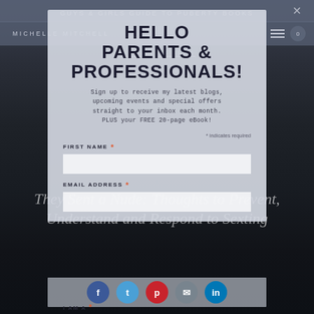GUYS & GIRLS GUIDE TO PUBERTY BOOKS
MICHELLE MITCHELL
MICHELLE'S BLOG
HELLO PARENTS & PROFESSIONALS!
Sign up to receive my latest blogs, upcoming events and special offers straight to your inbox each month. PLUS your FREE 20-page eBook!
* indicates required
FIRST NAME *
EMAIL ADDRESS *
I AM A *
They Sent a Nude: Thoughts to Prevent, Understand and Respond to Sexting
[Figure (screenshot): Social sharing icons bar with Facebook, Twitter, Pinterest, Email, and LinkedIn circular icons on a grey background]